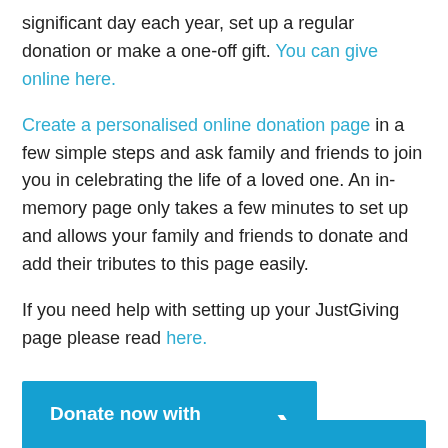significant day each year, set up a regular donation or make a one-off gift. You can give online here.
Create a personalised online donation page in a few simple steps and ask family and friends to join you in celebrating the life of a loved one. An in-memory page only takes a few minutes to set up and allows your family and friends to donate and add their tributes to this page easily.
If you need help with setting up your JustGiving page please read here.
[Figure (other): Blue button reading 'Donate now with JustGiving' with a right-pointing chevron arrow]